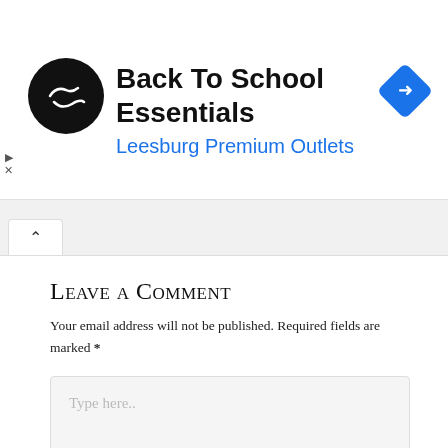[Figure (screenshot): Ad banner for Back To School Essentials at Leesburg Premium Outlets, with circular logo on left and blue diamond navigation icon on right]
[Figure (screenshot): Browser navigation tab bar with a caret/up-arrow tab icon]
Leave a Comment
Your email address will not be published. Required fields are marked *
[Figure (screenshot): Comment text area with placeholder text 'Type here..' and a red back-to-top button in the lower right corner]